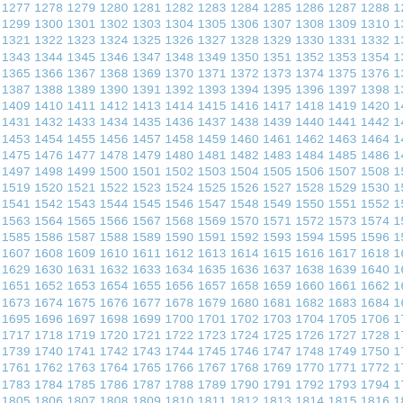Sequential numbers from approximately 1277 to 1820, displayed in rows of 22 numbers each, with numbers incrementing by 1 across rows and by 22 down columns. Numbers are displayed in a light blue color.